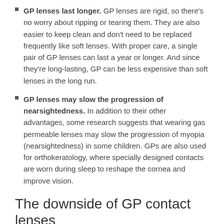GP lenses last longer. GP lenses are rigid, so there's no worry about ripping or tearing them. They are also easier to keep clean and don't need to be replaced frequently like soft lenses. With proper care, a single pair of GP lenses can last a year or longer. And since they're long-lasting, GP can be less expensive than soft lenses in the long run.
GP lenses may slow the progression of nearsightedness. In addition to their other advantages, some research suggests that wearing gas permeable lenses may slow the progression of myopia (nearsightedness) in some children. GPs are also used for orthokeratology, where specially designed contacts are worn during sleep to reshape the cornea and improve vision.
The downside of GP contact lenses
So why doesn't everyone wear GP lenses? Potential disadvantages of GP lenses (compared to soft lenses) include:
Need for adaptation. Unlike wearing soft lenses (which are comfortable right from the start), you may need few